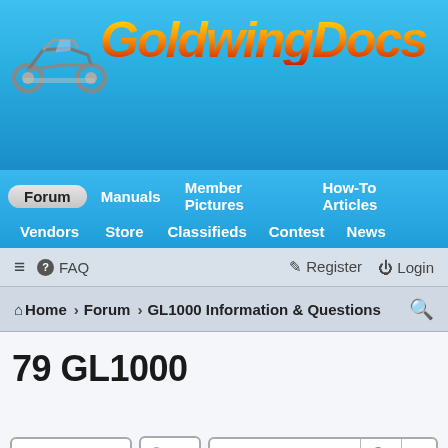[Figure (logo): GoldwingDocs website logo with motorcycle image and stylized text]
Forum | Manuals | Member Pictures | How-To Articles | Vendors | Store | Classifieds | Contest | News
≡ ❓ FAQ    Register Login
Home › Forum › GL1000 Information & Questions 🔍
79 GL1000
Post Reply | Tools | Search this topic...
7 posts • Page 1 of 1
Old Guard
👍 0  👎 0
79 GL1000